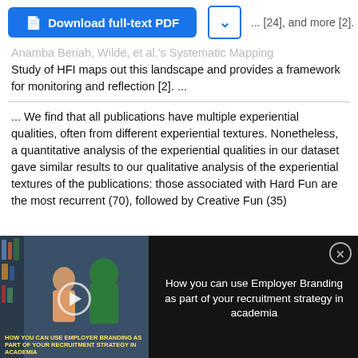[Figure (screenshot): Blue Download full-text PDF button with document icon, and a dropdown chevron box, followed by '... [24], and more [2].' text in grey]
Anamba Beriah, Wilde, et al.'s Systematic Mapping Study of HFI maps out this landscape and provides a framework for monitoring and reflection [2]. ...
... We find that all publications have multiple experiential qualities, often from different experiential textures. Nonetheless, a quantitative analysis of the experiential qualities in our dataset gave similar results to our qualitative analysis of the experiential textures of the publications: those associated with Hard Fun are the most recurrent (70), followed by Creative Fun (35)
[Figure (screenshot): Video overlay panel with dark background. Left side shows a video thumbnail of students in a library with a play button and title text 'HOW YOU CAN USE EMPLOYER BRANDING AS PART OF YOUR RECRUITMENT STRATEGY IN ACADEMIA'. Right side shows white text: 'How you can use Employer Branding as part of your recruitment strategy in academia' with a close (X) button.]
[Figure (screenshot): ThermoFisher Scientific advertisement showing a blue/purple molecular diagnostics image on the left and 'ThermoFisher SCIENTIFIC' logo with 'Molecular diagnostics handbook' bold text on the right.]